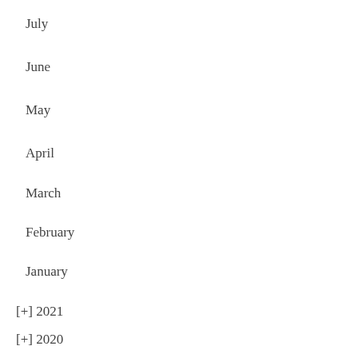July
June
May
April
March
February
January
[+] 2021
[+] 2020
[-] 2019
December